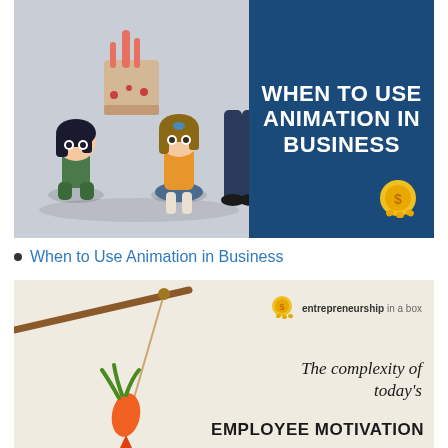[Figure (illustration): Promotional image showing anime figurines on the left against a grey background, and a dark blue panel on the right with white bold text reading WHEN TO USE ANIMATION IN BUSINESS, with a yellow icon at bottom right.]
When to Use Animation in Business
[Figure (illustration): Promotional image with a beige background showing a carrot dangling from a stick on the left, and on the right the Entrepreneurship in a Box logo/brand, italic text 'The complexity of today's' and bold caps text 'EMPLOYEE MOTIVATION'.]